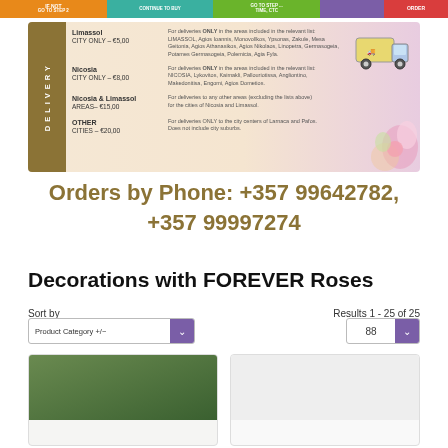[Figure (infographic): Top navigation bar with colored segments: IF NOT GO TO STEP 2 (orange), CONTINUE TO BUY (teal), GO TO STEP ... TIME, CTC (green), ORDER (purple/red)]
[Figure (infographic): Delivery pricing banner. Left side olive/brown bar with DELIVERY text vertical. Table of delivery options: Limassol CITY ONLY €5.00 (areas listed), Nicosia CITY ONLY €8.00 (areas listed), Nicosia & Limassol AREAS €15.00, OTHER CITIES €20.00. Truck icon top right, flower decoration bottom right.]
Orders by Phone: +357 99642782, +357 99997274
Decorations with FOREVER Roses
Sort by
Results 1 - 25 of 25
Product Category +/-
88
[Figure (photo): Product card 1 - partially visible product image (greenish/plant)]
[Figure (photo): Product card 2 - partially visible, white/empty]